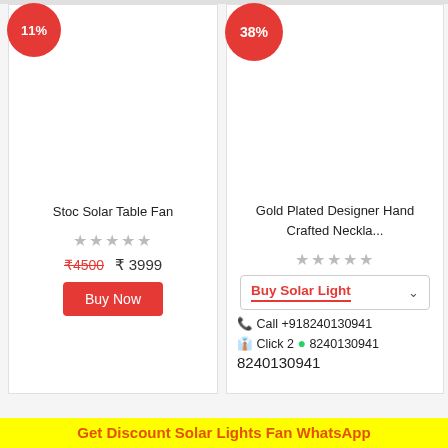[Figure (screenshot): Product card for Stoc Solar Table Fan with 11% discount badge, empty image area, star rating, crossed price ₹4500, sale price ₹3999, and Buy Now button]
Stoc Solar Table Fan
★★★★★
₹4500  ₹ 3999
Buy Now
[Figure (screenshot): Product card for Gold Plated Designer Hand Crafted Neckla... with 38% discount badge, empty image area, star rating, Buy Solar Light dropdown, call and WhatsApp contact info]
Gold Plated Designer Hand Crafted Neckla...
★★★★★
Buy Solar Light
Call +918240130941
Click 2 8240130941
Get Discount Solar Lights Fan WhatsApp